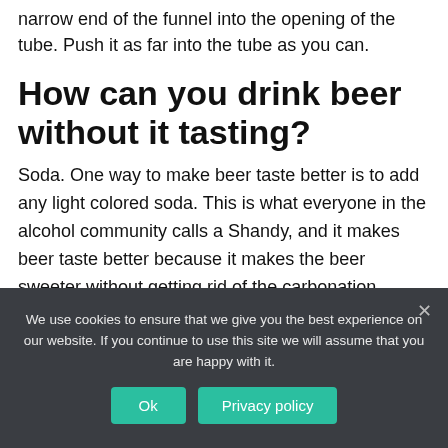narrow end of the funnel into the opening of the tube. Push it as far into the tube as you can.
How can you drink beer without it tasting?
Soda. One way to make beer taste better is to add any light colored soda. This is what everyone in the alcohol community calls a Shandy, and it makes beer taste better because it makes the beer sweeter without getting rid of the carbonation.
We use cookies to ensure that we give you the best experience on our website. If you continue to use this site we will assume that you are happy with it.